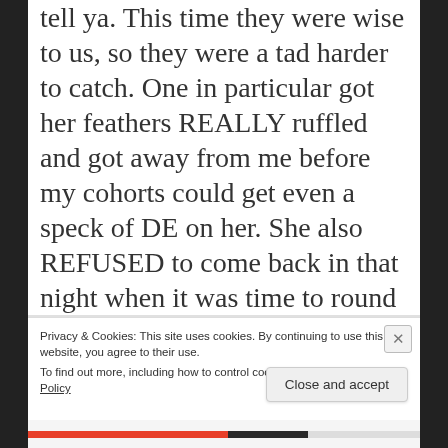tell ya. This time they were wise to us, so they were a tad harder to catch. One in particular got her feathers REALLY ruffled and got away from me before my cohorts could get even a speck of DE on her. She also REFUSED to come back in that night when it was time to round up the flock. I think it took 3 separate trips to the coop to finally corral her. Her antics have continued on and off ever since. It's been almost 2 weeks at this point.
Privacy & Cookies: This site uses cookies. By continuing to use this website, you agree to their use.
To find out more, including how to control cookies, see here: Cookie Policy
Close and accept